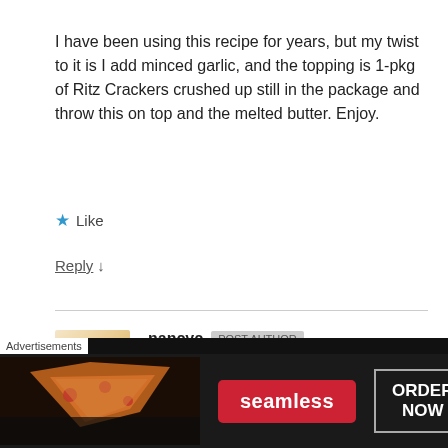I have been using this recipe for years, but my twist to it is I add minced garlic, and the topping is 1-pkg of Ritz Crackers crushed up still in the package and throw this on top and the melted butter. Enjoy.
★ Like
Reply ↓
nancyc  POST AUTHOR
May 10, 2012 at 9:35
I love garlic, so adding that sounds really good to me! 🙂 And
[Figure (screenshot): Seamless food delivery advertisement banner with pizza image, Seamless logo in red, and ORDER NOW button]